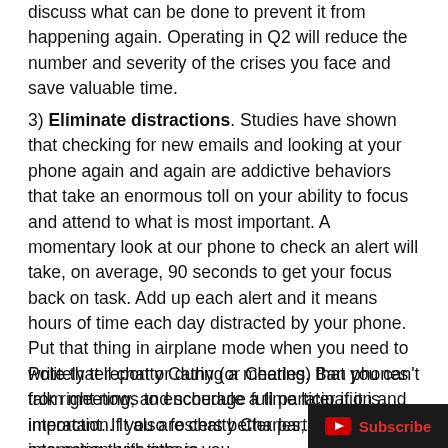discuss what can be done to prevent it from happening again.  Operating in Q2 will reduce the number and severity of the crises you face and save valuable time.
3) Eliminate distractions.  Studies have shown that checking for new emails and looking at your phone again and again are addictive behaviors that take an enormous toll on your ability to focus and attend to what is most important.  A momentary look at our phone to check an alert will take, on average, 90 seconds to get your focus back on task.  Add up each alert and it means hours of time each day distracted by your phone.   Put that thing in airplane mode when you need to write that report or during a meeting.  Ban phones from meetings to encourage full participation and interaction.  It also fosters better participation and interaction with others.
Politely tell chatty Cathy (or Charles) that you can't talk right now, and schedule a time later if it is important.  If you are chatty Charles, stop assuming their time is you